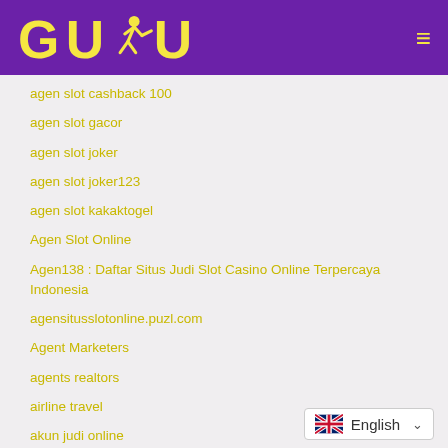[Figure (logo): GUDU logo in yellow on purple header background with running figure icon]
agen slot cashback 100
agen slot gacor
agen slot joker
agen slot joker123
agen slot kakaktogel
Agen Slot Online
Agen138 : Daftar Situs Judi Slot Casino Online Terpercaya Indonesia
agensitusslotonline.puzl.com
Agent Marketers
agents realtors
airline travel
akun judi online
English